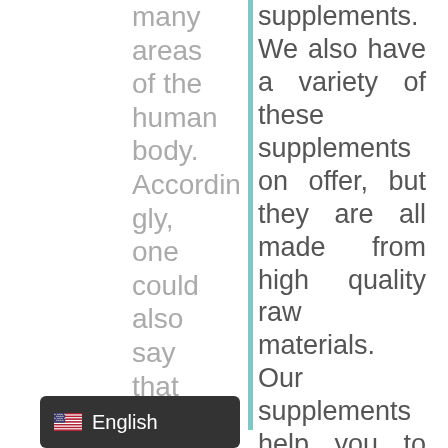many areas of the human body. Accordingly, one could also say that nothing works on the
supplements. We also have a variety of these supplements on offer, but they are all made from high quality raw materials. Our supplements help you to get the
[Figure (other): Language selector button showing US flag and 'English' text on dark background]